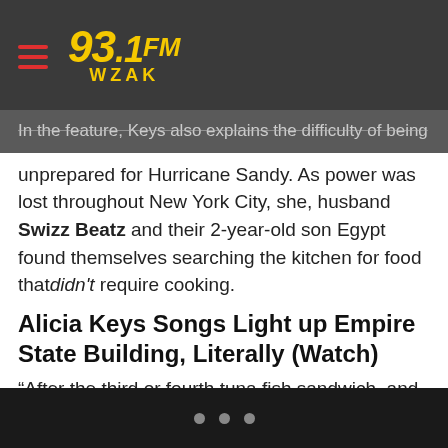93.1 FM WZAK
In the feature, Keys also explains the difficulty of being unprepared for Hurricane Sandy. As power was lost throughout New York City, she, husband Swizz Beatz and their 2-year-old son Egypt found themselves searching the kitchen for food that didn't require cooking.
Alicia Keys Songs Light up Empire State Building, Literally (Watch)
“After the third or fourth tuna fish sandwich, and after we learned we’d be without power for a week, I called my mother, who lives Uptown,” said Keys, a resident of SoHo. “She was okay and hadn’t lost any power, so we ended up going to her house. We were pretty lucky.”